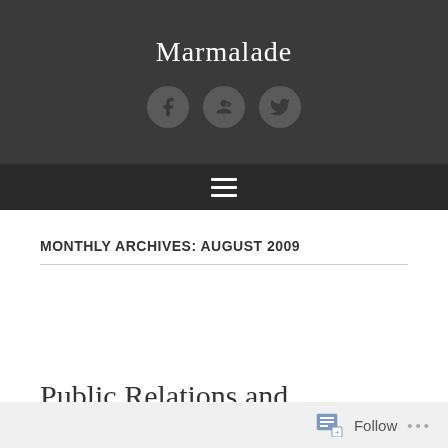Marmalade
[Figure (illustration): Three social media icon circles: Facebook (f), Google Plus (g+), and Twitter (bird icon), displayed horizontally in the dark header area]
[Figure (illustration): Hamburger menu icon with three horizontal white lines on dark navigation bar]
MONTHLY ARCHIVES: AUGUST 2009
Public Relations and